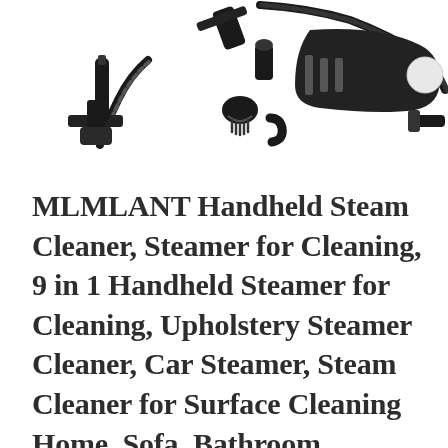[Figure (photo): Product photo of various steam cleaner attachments and accessories laid out on white background, including hoses, nozzles, brush heads, and a flat iron attachment, all in black color.]
MLMLANT Handheld Steam Cleaner, Steamer for Cleaning, 9 in 1 Handheld Steamer for Cleaning, Upholstery Steamer Cleaner, Car Steamer, Steam Cleaner for Surface Cleaning Home, Sofa, Bathroom,